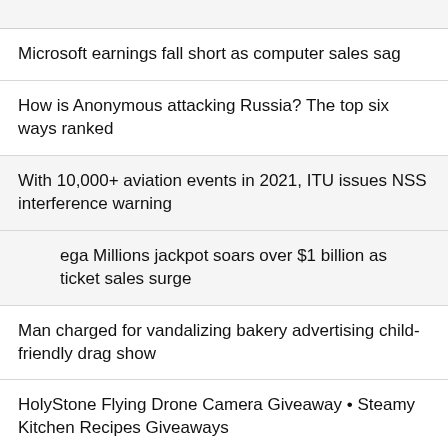Microsoft earnings fall short as computer sales sag
How is Anonymous attacking Russia? The top six ways ranked
With 10,000+ aviation events in 2021, ITU issues NSS interference warning
Mega Millions jackpot soars over $1 billion as ticket sales surge
Man charged for vandalizing bakery advertising child-friendly drag show
HolyStone Flying Drone Camera Giveaway • Steamy Kitchen Recipes Giveaways